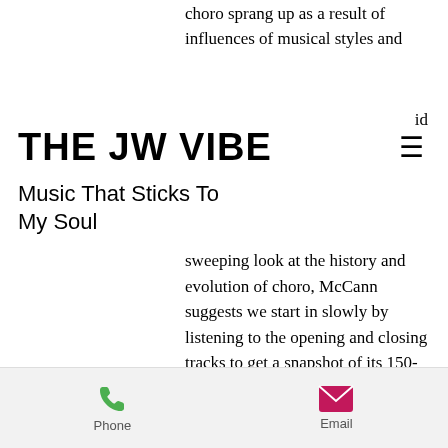choro sprang up as a result of influences of musical styles and
id
THE JW VIBE
Music That Sticks To My Soul
sweeping look at the history and evolution of choro, McCann suggests we start in slowly by listening to the opening and closing tracks to get a snapshot of its 150-year evolution. Bright, fluid and romantic, "Ali Baba," penned in 1872 is tango-habanera, based on the rhythmic cell that came out of Havana late in the 19th century.
The final track, "Choro...
Phone   Email